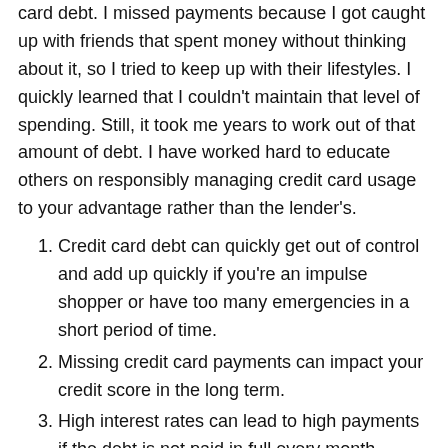card debt. I missed payments because I got caught up with friends that spent money without thinking about it, so I tried to keep up with their lifestyles. I quickly learned that I couldn't maintain that level of spending. Still, it took me years to work out of that amount of debt. I have worked hard to educate others on responsibly managing credit card usage to your advantage rather than the lender's.
Credit card debt can quickly get out of control and add up quickly if you're an impulse shopper or have too many emergencies in a short period of time.
Missing credit card payments can impact your credit score in the long term.
High interest rates can lead to high payments if the debt is not paid in full every month.
Applying for too many credit cards during a certain amount of time can impact your credit score or